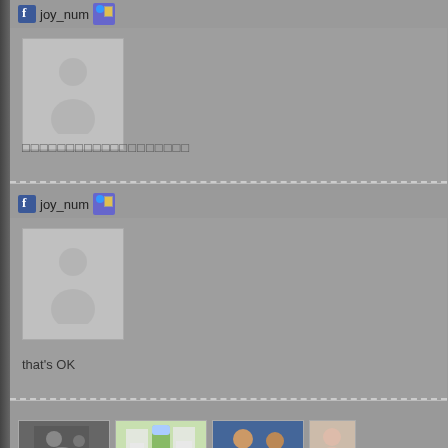[Figure (screenshot): Social media interface screenshot showing two posts by user 'joy_num' with Facebook icon, avatar sprite, profile placeholder images, text content, and thumbnail images at bottom]
joy_num
[Figure (photo): Default profile picture placeholder (silhouette)]
□□□□□□□□□□□□□□□□□□□
joy_num
[Figure (photo): Default profile picture placeholder (silhouette)]
that's OK
[Figure (photo): Black and white thumbnail image]
[Figure (photo): Color thumbnail with green product image]
[Figure (photo): Color thumbnail with people]
[Figure (photo): Color thumbnail partial]